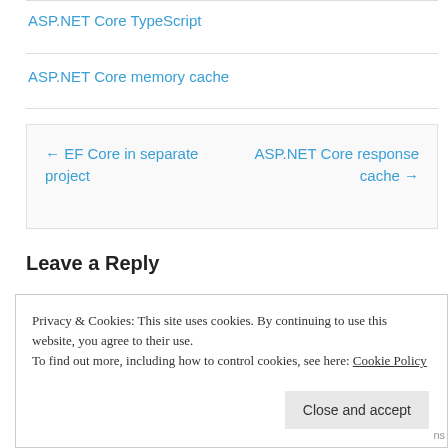ASP.NET Core TypeScript
ASP.NET Core memory cache
← EF Core in separate project
ASP.NET Core response cache →
Leave a Reply
Privacy & Cookies: This site uses cookies. By continuing to use this website, you agree to their use.
To find out more, including how to control cookies, see here: Cookie Policy
Close and accept